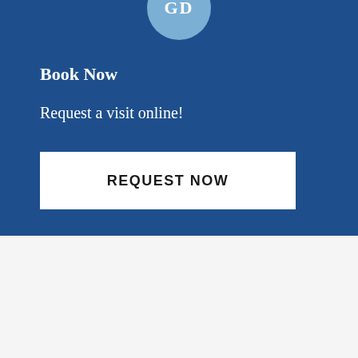[Figure (logo): Circular logo with initials 'GD' on a light blue circle background]
Book Now
Request a visit online!
REQUEST NOW
Florissant Dental
YOUR DENTAL TEAM
[Figure (illustration): Accessibility icon — white person figure in a blue circle]
We are always welcoming new patients and we would